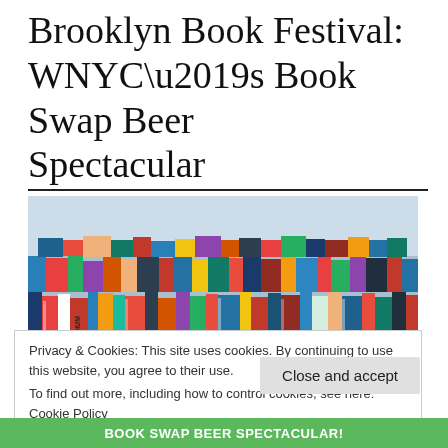Brooklyn Book Festival: WNYC’s Book Swap Beer Spectacular
[Figure (photo): A large stack of colorful books arranged in a pile against a light blue/white background, showing spines of various novels and publications including titles like RADIUM and others.]
Privacy & Cookies: This site uses cookies. By continuing to use this website, you agree to their use.
To find out more, including how to control cookies, see here: Cookie Policy
Close and accept
BOOK SWAP BEER SPECTACULAR!